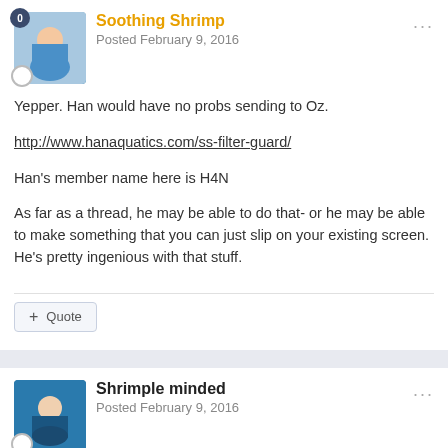Soothing Shrimp · Posted February 9, 2016
Yepper.  Han would have no probs sending to Oz.
http://www.hanaquatics.com/ss-filter-guard/
Han's member name here is H4N
As far as a thread, he may be able to do that- or he may be able to make something that you can just slip on your existing screen. He's pretty ingenious with that stuff.
+ Quote
Shrimple minded · Posted February 9, 2016